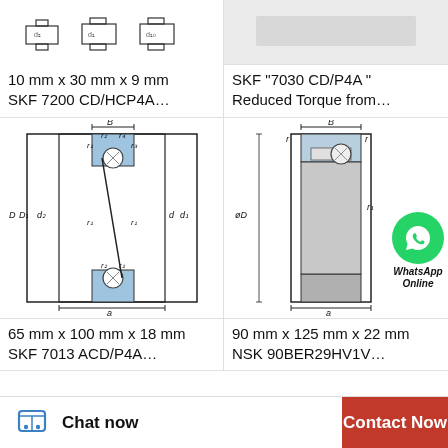[Figure (engineering-diagram): Small bearing cross-section technical drawing with dimensions labeled]
[Figure (engineering-diagram): Bearing diagram with gray shaded area, right column top]
10 mm x 30 mm x 9 mm
SKF 7200 CD/HCP4A...
SKF "7030 CD/P4A "
Reduced Torque from…
[Figure (engineering-diagram): Angular contact ball bearing cross-section technical drawing with labeled dimensions: B, r1, r2, r3, r4, D, D1, d2, d, d1, a]
[Figure (engineering-diagram): Angular contact ball bearing cross-section with labeled dimensions: B, r, r1, ØD, a, with WhatsApp Online badge overlay]
65 mm x 100 mm x 18 mm
SKF 7013 ACD/P4A...
90 mm x 125 mm x 22 mm
NSK 90BER29HV1V…
Chat now
Contact Now